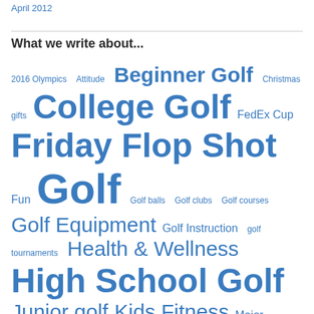April 2012
What we write about...
2016 Olympics  Attitude  Beginner Golf  Christmas gifts  College Golf  FedEx Cup  Friday Flop Shot  Fun  Golf  Golf balls  Golf clubs  Golf courses  Golf Equipment  Golf Instruction  golf tournaments  Health & Wellness  High School Golf  Junior golf  Kids Fitness  Major Championships  mental game  Monday Mulligan  Olympic Golf  Parenting  Parenting Athletes  President's Cup  Sports  The Masters  Valero Texas Open  Wednesday Waggle